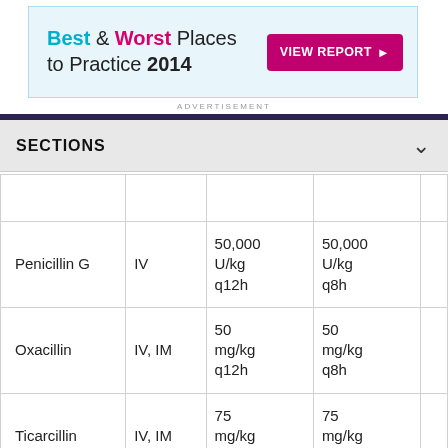[Figure (other): Advertisement banner: Best & Worst Places to Practice 2014 with VIEW REPORT button]
ADVERTISEMENT
SECTIONS
|  |  |  |  |  |
| --- | --- | --- | --- | --- |
| Penicillin G | IV | 50,000
U/kg
q12h | 50,000
U/kg
q8h |  |
| Oxacillin | IV, IM | 50
mg/kg
q12h | 50
mg/kg
q8h |  |
| Ticarcillin | IV, IM | 75
mg/kg
q12h | 75
mg/kg
q8h |  |